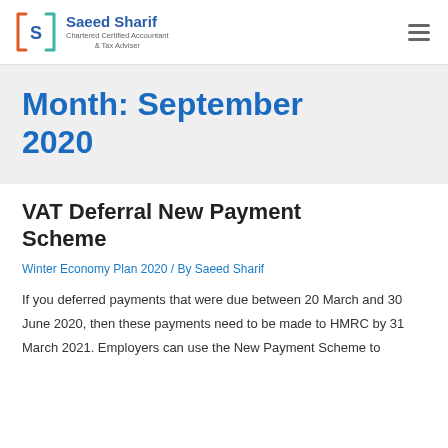Saeed Sharif Chartered Certified Accountant & Tax Adviser
Month: September 2020
VAT Deferral New Payment Scheme
Winter Economy Plan 2020 / By Saeed Sharif
If you deferred payments that were due between 20 March and 30 June 2020, then these payments need to be made to HMRC by 31 March 2021. Employers can use the New Payment Scheme to